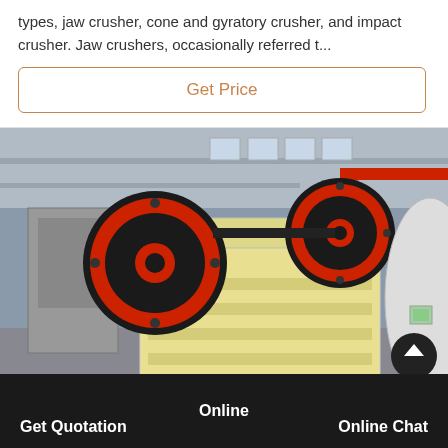types, jaw crusher, cone and gyratory crusher, and impact crusher. Jaw crushers, occasionally referred t...
Get Price
[Figure (photo): Industrial jaw crusher machine with large red and black flywheel wheels, yellow body, in a factory setting. A scroll-to-top button is visible in the lower right.]
Get Quotation   Online   Online Chat